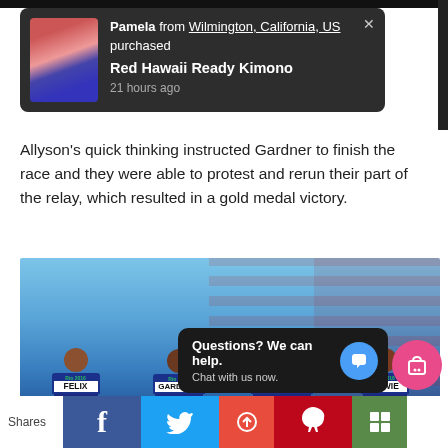[Figure (screenshot): Dark notification popup showing: Pamela from Wilmington, California, US purchased Red Hawaii Ready Kimono 21 hours ago, with a product image on the left and a close X button]
Allyson's quick thinking instructed Gardner to finish the race and they were able to protest and rerun their part of the relay, which resulted in a gold medal victory.
[Figure (photo): Photo of four female USA relay team athletes (Felix, Gardner, Bartoletta, Bowie) in blue Nike uniforms celebrating with an American flag at what appears to be the Rio 2016 Olympics]
[Figure (screenshot): Chat widget popup with text 'Questions? We can help. Chat with us now.' and a blue chat bubble icon]
[Figure (screenshot): Bottom social share bar with Shares label, Facebook (blue), Twitter (light blue), red button, Pinterest, and green grid buttons; also a pink/magenta shopping bag icon]